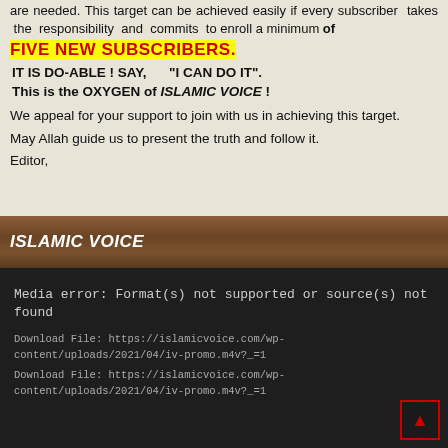are needed. This target can be achieved easily if every subscriber takes the responsibility and commits to enroll a minimum of
FIVE NEW SUBSCRIBERS.
IT IS DO-ABLE ! SAY,   “I CAN DO IT”.
This is the OXYGEN of ISLAMIC VOICE !
We appeal for your support to join with us in achieving this target.
May Allah guide us to present the truth and follow it.
Editor,
ISLAMIC VOICE
Media error: Format(s) not supported or source(s) not found
Download File: https://islamicvoice.com/wp-content/uploads/2021/04/iv-promo.m4v?_=1
Download File: https://islamicvoice.com/wp-content/uploads/2021/04/iv-promo.m4v?_=1